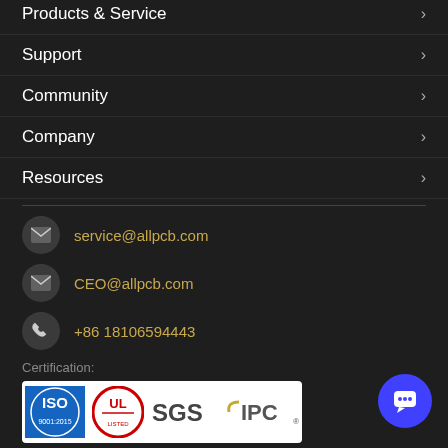Products & Service >
Support >
Community >
Company >
Resources >
service@allpcb.com
CEO@allpcb.com
+86 18106594443
Certification:
[Figure (logo): Certification logos: ISO, UL, SGS, IPC]
Delivery Options:
[Figure (logo): Delivery logos: FedEx, UPS Preferred Carrier, DHL Express]